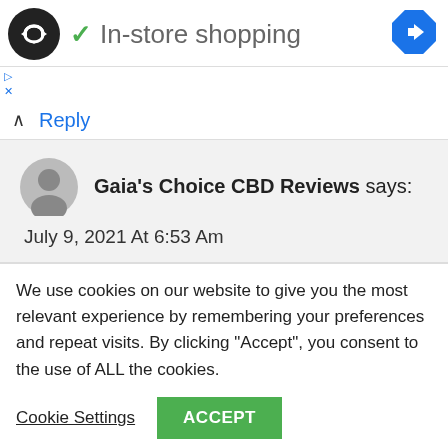[Figure (logo): Black circle logo with double arrow symbol (infinity/loop icon)]
✓ In-store shopping
[Figure (logo): Blue diamond navigation arrow icon]
Reply
Gaia's Choice CBD Reviews says:
July 9, 2021 At 6:53 Am
We use cookies on our website to give you the most relevant experience by remembering your preferences and repeat visits. By clicking “Accept”, you consent to the use of ALL the cookies.
Cookie Settings
ACCEPT